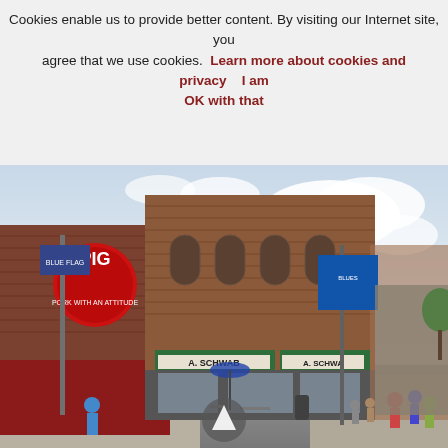Cookies enable us to provide better content. By visiting our Internet site, you agree that we use cookies.  Learn more about cookies and privacy     I am OK with that
[Figure (photo): Street view of Beale Street in Memphis, Tennessee, showing historic brick buildings including A. Schwab store, the Pig restaurant with a circular sign, pedestrians walking along the sidewalk, and a busy commercial strip with signs and shops stretching into the distance under a cloudy sky.]